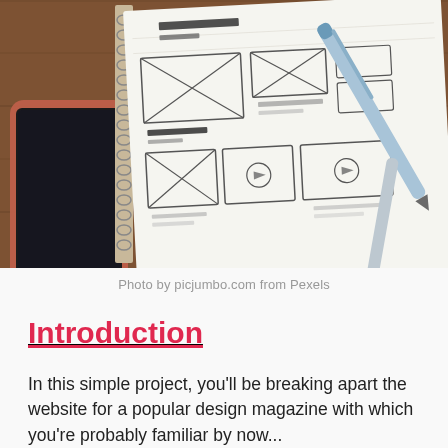[Figure (photo): A spiral-bound notebook with wireframe sketches/UI mockup drawings on a wooden table, accompanied by a smartphone and a stylus/pen.]
Photo by picjumbo.com from Pexels
Introduction
In this simple project, you'll be breaking apart the website for a popular design magazine with which you're probably familiar by now...